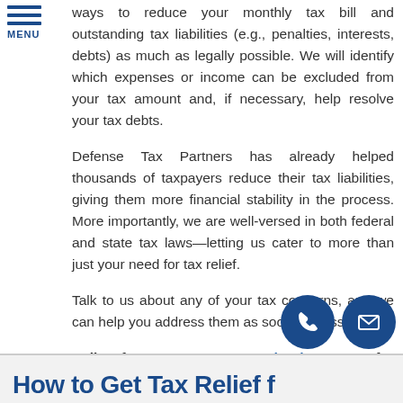ways to reduce your monthly tax bill and outstanding tax liabilities (e.g., penalties, interests, debts) as much as legally possible. We will identify which expenses or income can be excluded from your tax amount and, if necessary, help resolve your tax debts.
Defense Tax Partners has already helped thousands of taxpayers reduce their tax liabilities, giving them more financial stability in the process. More importantly, we are well-versed in both federal and state tax laws—letting us cater to more than just your need for tax relief.
Talk to us about any of your tax concerns, and we can help you address them as soon as possible!
Call Defense Tax Partners at (803) 258-6729 for your Free Consultation with a Scotia Tax Relief expert!